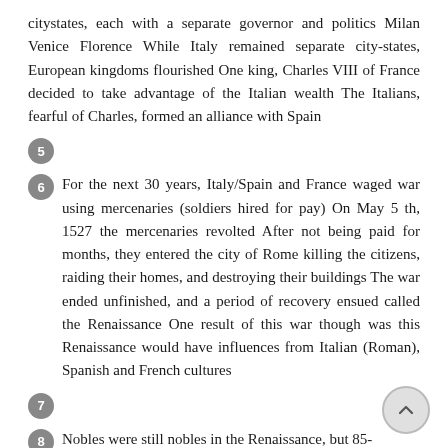citystates, each with a separate governor and politics Milan Venice Florence While Italy remained separate city-states, European kingdoms flourished One king, Charles VIII of France decided to take advantage of the Italian wealth The Italians, fearful of Charles, formed an alliance with Spain
5
6  For the next 30 years, Italy/Spain and France waged war using mercenaries (soldiers hired for pay) On May 5 th, 1527 the mercenaries revolted After not being paid for months, they entered the city of Rome killing the citizens, raiding their homes, and destroying their buildings The war ended unfinished, and a period of recovery ensued called the Renaissance One result of this war though was this Renaissance would have influences from Italian (Roman), Spanish and French cultures
7
8  Nobles were still nobles in the Renaissance, but 85-